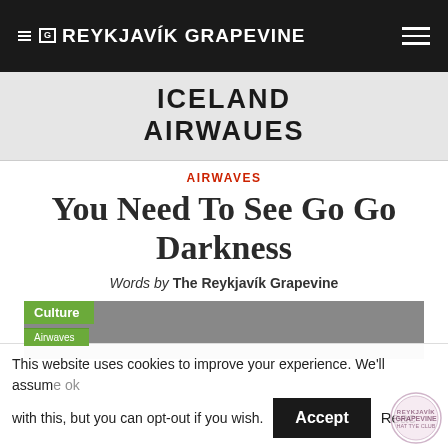THE REYKJAVÍK GRAPEVINE
[Figure (logo): Iceland Airwaves logo in bold uppercase blocky font on light grey background]
AIRWAVES
You Need To See Go Go Darkness
Words by The Reykjavík Grapevine
[Figure (photo): Partially visible article thumbnail with Culture / Airwaves tag on green background and grey photo area]
This website uses cookies to improve your experience. We'll assume ok with this, but you can opt-out if you wish.